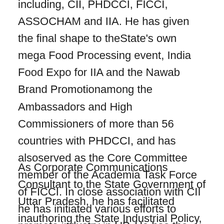including, CII, PHDCCI, FICCI, ASSOCHAM and IIA. He has given the final shape to theState's own mega Food Processing event, India Food Expo for IIA and the Nawab Brand Promotionamong the Ambassadors and High Commissioners of more than 56 countries with PHDCCI, and has alsoserved as the Core Committee member of the Academia Task Force of FICCI. In close association with CII he has initiated various efforts to promote industry in UP. He has the credit offacilitating the GoUP in designing the two of its most successful tours to USA & UK and events like TheHall of Strengths, the Top Ten Show, the trend-setting series of InvestMart to attract investments for theState from within India and abroad.
As Corporate Communications Consultant to the State Government of Uttar Pradesh, he has facilitated inauthoring the State Industrial Policy, 1994, the first after India was open to the Global Economy, whichshowcased an industry friendly Government besides an environment like Sector by Industrial...